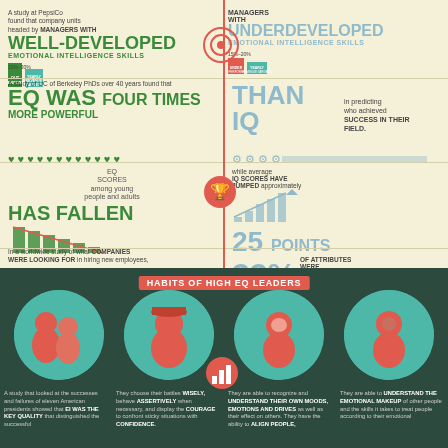A study at PepsiCo found that company units headed by MANAGERS WITH WELL-DEVELOPED EMOTIONAL INTELLIGENCE SKILLS 10%–20% outperform yearly revenue targets
MANAGERS WITH UNDERDEVELOPED EMOTIONAL INTELLIGENCE SKILLS 15%–20% under perform yearly revenue targets
A study of UC of Berkeley PhDs over 40 years found that EQ WAS FOUR TIMES MORE POWERFUL THAN IQ in predicting who achieved SUCCESS IN THEIR FIELD.
EQ SCORES among young people and adults HAS FALLEN while average IQ SCORES HAVE JUMPED approximately 25 POINTS
In a worldwide study of what COMPANIES WERE LOOKING FOR in hiring new employees, 67% of the most desired ATTRIBUTES WERE EQ COMPETENCIES 33% OF ATTRIBUTES WERE OTHER COMPETENCIES
HABITS OF HIGH EQ LEADERS
A study that looked at the successes and failures of eleven American presidents showed that EI WAS THE KEY QUALITY that distinguished the successful
They choose their battles WISELY, behave ASSERTIVELY when necessary, and display the COURAGE to confront sticky situations with CONFIDENCE.
They are able to recognize and UNDERSTAND THEIR OWN MOODS, EMOTIONS AND DRIVES as well as their effect on others. They have the ability to ALIGN PEOPLE,
They are able to UNDERSTAND THE EMOTIONAL MAKEUP of other people and the skills it takes to treat people according to their emotional